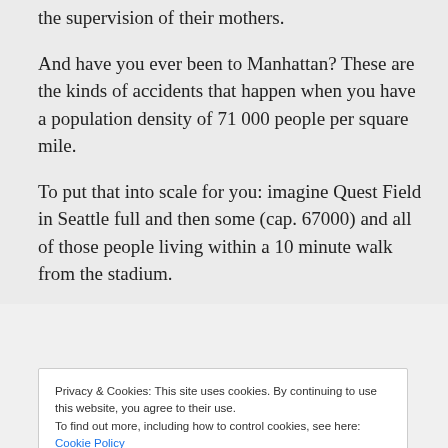the supervision of their mothers.
And have you ever been to Manhattan? These are the kinds of accidents that happen when you have a population density of 71 000 people per square mile.
To put that into scale for you: imagine Quest Field in Seattle full and then some (cap. 67000) and all of those people living within a 10 minute walk from the stadium.
Privacy & Cookies: This site uses cookies. By continuing to use this website, you agree to their use.
To find out more, including how to control cookies, see here: Cookie Policy
Is it right to find a 4 year old girl legally